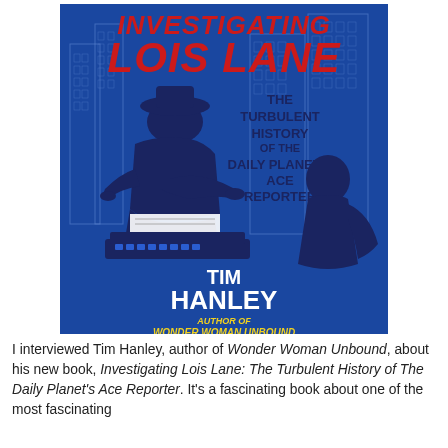[Figure (illustration): Book cover for 'Investigating Lois Lane: The Turbulent History of the Daily Planet's Ace Reporter' by Tim Hanley. Blue background with city skyline silhouette, silhouette of woman at typewriter, red bold title text 'INVESTIGATING LOIS LANE', dark blue subtitle text, author name 'TIM HANLEY' in white, and 'AUTHOR OF WONDER WOMAN UNBOUND' in yellow italic.]
I interviewed Tim Hanley, author of Wonder Woman Unbound, about his new book, Investigating Lois Lane: The Turbulent History of The Daily Planet's Ace Reporter. It's a fascinating book about one of the most fascinating